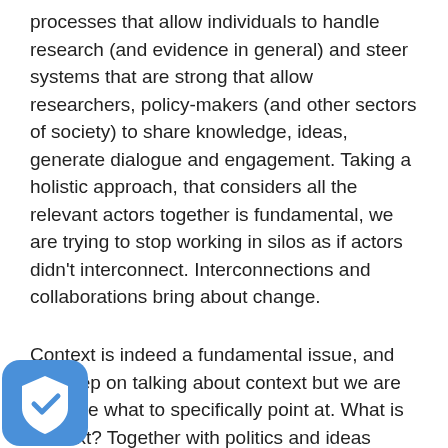processes that allow individuals to handle research (and evidence in general) and steer systems that are strong that allow researchers, policy-makers (and other sectors of society) to share knowledge, ideas, generate dialogue and engagement. Taking a holistic approach, that considers all the relevant actors together is fundamental, we are trying to stop working in silos as if actors didn't interconnect. Interconnections and collaborations bring about change.
Context is indeed a fundamental issue, and we keep on talking about context but we are not sure what to specifically point at. What is context? Together with politics and ideas http://www.politicsandideas.org/ we are going through an effort to systematise the knowledge, and incorporate new, about context. We will try to flesh out what it means and understand what knowledge is more useful in different circumstances, particularly in policy-making. The idea is to develop a taxonomy that can hopefully shed some light into this broad and complex